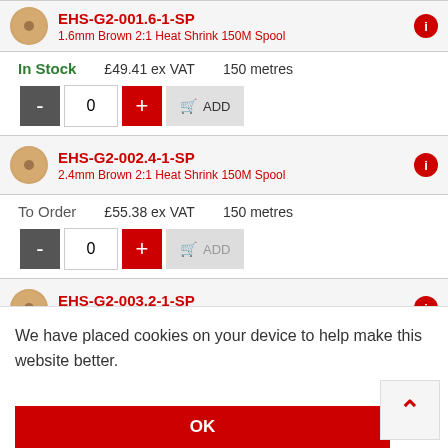EHS-G2-001.6-1-SP
1.6mm Brown 2:1 Heat Shrink 150M Spool
In Stock   £49.41 ex VAT   150 metres
EHS-G2-002.4-1-SP
2.4mm Brown 2:1 Heat Shrink 150M Spool
To Order   £55.38 ex VAT   150 metres
EHS-G2-003.2-1-SP
3.2mm Brown 2:1 Heat Shrink 150M Spool
We have placed cookies on your device to help make this website better.